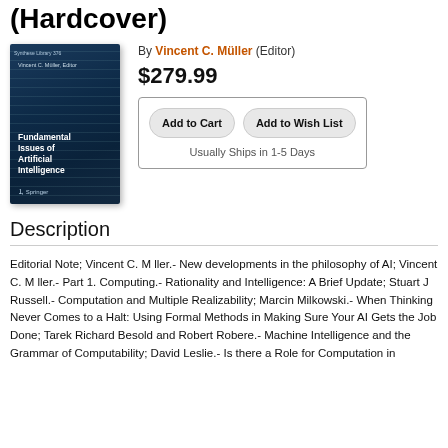(Hardcover)
[Figure (illustration): Book cover for 'Fundamental Issues of Artificial Intelligence' edited by Vincent C. Müller, published by Springer. Dark blue/teal cover with white title text.]
By Vincent C. Müller (Editor)
$279.99
Add to Cart
Add to Wish List
Usually Ships in 1-5 Days
Description
Editorial Note; Vincent C. M ller.- New developments in the philosophy of AI; Vincent C. M ller.- Part 1. Computing.- Rationality and Intelligence: A Brief Update; Stuart J Russell.- Computation and Multiple Realizability; Marcin Milkowski.- When Thinking Never Comes to a Halt: Using Formal Methods in Making Sure Your AI Gets the Job Done; Tarek Richard Besold and Robert Robere.- Machine Intelligence and the Grammar of Computability; David Leslie.- Is there a Role for Computation in